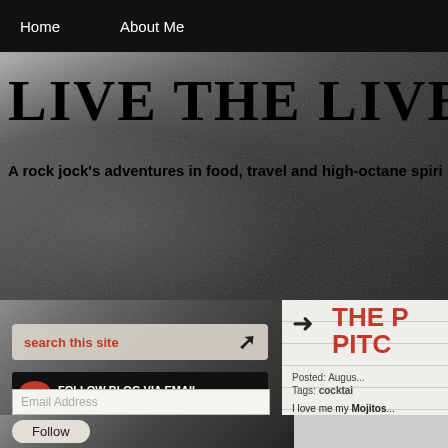Home   About Me
LIVE THE LIVE ™
A rock jock's adventures in food, travel and high-octane spiri...
search this site
FOLLOW BLOG VIA EMAIL
Enter your email address to follow this blog and receive notifications of new posts by email.
Email Address
Follow
THE P... PITC...
Posted: Augus...
Tags: cocktai...
I love me my Mojitos...
Frozen fruit works we...